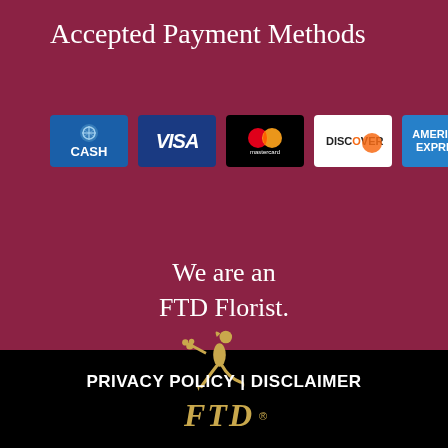Accepted Payment Methods
[Figure (infographic): Row of accepted payment method logos: CASH, VISA, Mastercard, Discover, American Express]
We are an FTD Florist.
[Figure (logo): FTD logo — gold figure of Mercury running with flowers, with FTD text below]
PRIVACY POLICY | DISCLAIMER